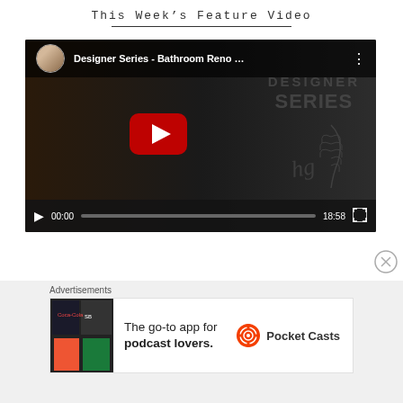This Week's Feature Video
[Figure (screenshot): YouTube embedded video player showing 'Designer Series - Bathroom Reno ...' with a thumbnail of a woman working, YouTube play button overlay, and video controls showing 00:00 / 18:58]
Advertisements
[Figure (screenshot): Pocket Casts advertisement banner: 'The go-to app for podcast lovers.' with Pocket Casts logo]